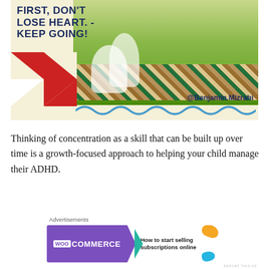[Figure (illustration): Promotional graphic with dark blue bold text reading 'FIRST, DON'T LOSE HEART. - KEEP GOING!' on a cream background with red/white geometric triangles, a photo of a woman and child on a picnic blanket on green grass, blue wavy decorative line, and Instagram handle @Benjamin.Mizrahi]
Thinking of concentration as a skill that can be built up over time is a growth-focused approach to helping your child manage their ADHD.
Advertisements
[Figure (illustration): WooCommerce advertisement banner with purple background, WOO logo, teal arrow, and text 'How to start selling subscriptions online' with orange and teal decorative blobs]